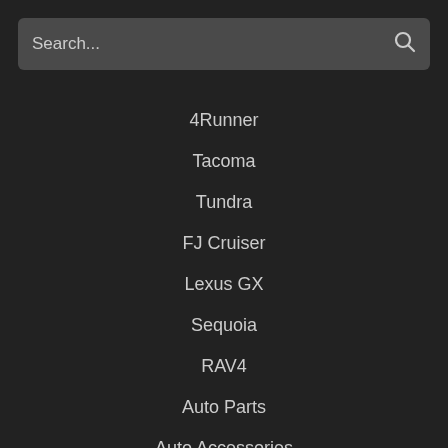[Figure (screenshot): Search bar with placeholder text 'Search...' and a search icon on the right, on a dark gray background]
4Runner
Tacoma
Tundra
FJ Cruiser
Lexus GX
Sequoia
RAV4
Auto Parts
Auto Accessories